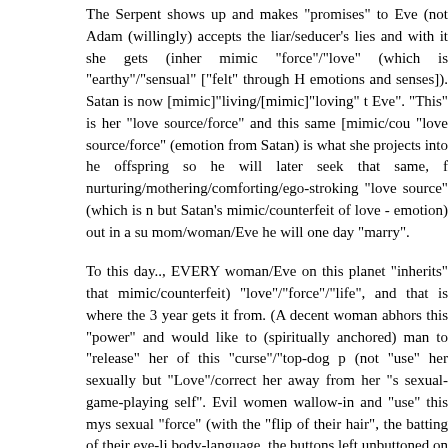The Serpent shows up and makes "promises" to Eve (not Adan (willingly) accepts the liar/seducer's lies and with it she gets (inherently) mimic "force"/"love" (which is "earthy"/"sensual" ["felt" through Her emotions and senses]). Satan is now [mimic]"living/[mimic]"loving" th Eve". "This" is her "love source/force" and this same [mimic/counterfeit] "love source/force" (emotion from Satan) is what she projects into her offspring so he will later seek that same, familiar nurturing/mothering/comforting/ego-stroking "love source" (which is nothing but Satan's mimic/counterfeit of love - emotion) out in a surrogate mom/woman/Eve he will one day "marry".
To this day.., EVERY woman/Eve on this planet "inherits" that (mimic/counterfeit) "love"/"force"/"life", and that is where the 3 year old gets it from. (A decent woman abhors this "power" and would like to have a (spiritually anchored) man to "release" her of this "curse"/"top-dog power" (not "use" her sexually but "Love"/correct her away from her "sinful" sexual-game-playing self". Evil women wallow-in and "use" this mystical sexual "force" (with the "flip of their hair", the batting of their eye-lids, body-language, the buttons left unbuttoned on their blouses, the tight jeans, the swing of their hips, the WAY they lick their lips [I can go on] hopefully you "get the picture" - We've identified/defined {in part} "western/liberal women"}.)